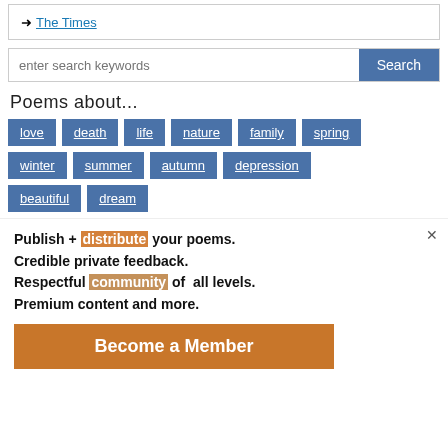→ The Times
enter search keywords
Poems about...
love
death
life
nature
family
spring
winter
summer
autumn
depression
beautiful
dream
Publish + distribute your poems. Credible private feedback. Respectful community of all levels. Premium content and more.
Become a Member